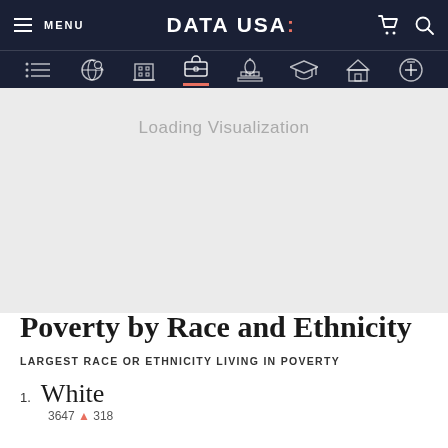MENU | DATA USA: (navigation bar with icons)
[Figure (screenshot): Data USA website navigation bar with dark navy background, hamburger menu, DATA USA: logo, cart and search icons, and a row of category icons including list, globe search, building, briefcase, capitol, graduation cap, house, and medical cross.]
Loading Visualization
Poverty by Race and Ethnicity
LARGEST RACE OR ETHNICITY LIVING IN POVERTY
1. White
3647 ▲ 318